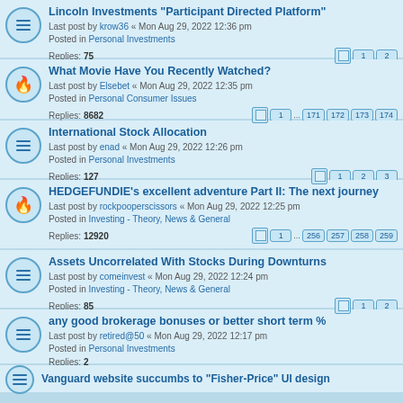Lincoln Investments "Participant Directed Platform"
Last post by krow36 « Mon Aug 29, 2022 12:36 pm
Posted in Personal Investments
Replies: 75
What Movie Have You Recently Watched?
Last post by Elsebet « Mon Aug 29, 2022 12:35 pm
Posted in Personal Consumer Issues
Replies: 8682
International Stock Allocation
Last post by enad « Mon Aug 29, 2022 12:26 pm
Posted in Personal Investments
Replies: 127
HEDGEFUNDIE's excellent adventure Part II: The next journey
Last post by rockpooperscissors « Mon Aug 29, 2022 12:25 pm
Posted in Investing - Theory, News & General
Replies: 12920
Assets Uncorrelated With Stocks During Downturns
Last post by comeinvest « Mon Aug 29, 2022 12:24 pm
Posted in Investing - Theory, News & General
Replies: 85
any good brokerage bonuses or better short term %
Last post by retired@50 « Mon Aug 29, 2022 12:17 pm
Posted in Personal Investments
Replies: 2
Vanguard website succumbs to "Fisher-Price" UI design